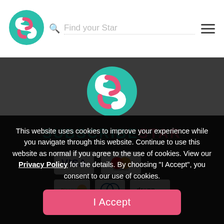[Figure (logo): SubscribeStar circular logo with teal background and white/pink S shape, shown in navbar]
Find your Star
[Figure (logo): SubscribeStar large circular logo centered on dark background]
SUBSCRIBESTAR
[Figure (other): Payment method badges: VISA, Mastercard, Discover, Diners Club, dropp]
This website uses cookies to improve your experience while you navigate through this website. Continue to use this website as normal if you agree to the use of cookies. View our Privacy Policy for the details. By choosing "I Accept", you consent to our use of cookies.